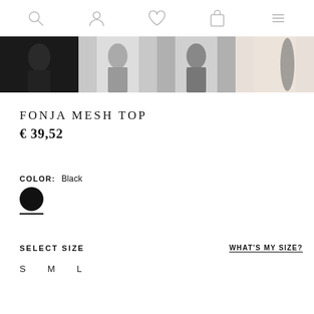Navigation bar with search, account, wishlist, cart, and menu icons
[Figure (photo): Four product thumbnail images of the Fonja Mesh Top in black/dark colors shown as a horizontal strip]
FONJA MESH TOP
€ 39,52
COLOR: Black
[Figure (other): Black circular color swatch with underline indicating selected color]
SELECT SIZE
WHAT'S MY SIZE?
S
M
L